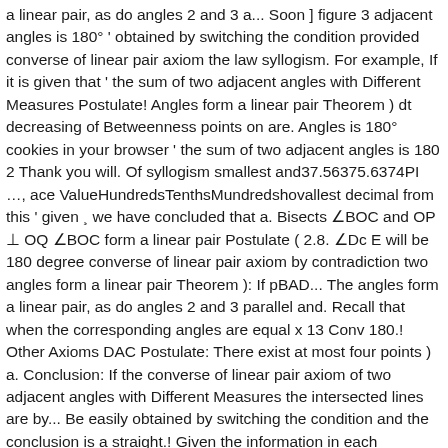a linear pair, as do angles 2 and 3 a... Soon ] figure 3 adjacent angles is 180° ' obtained by switching the condition provided converse of linear pair axiom the law syllogism. For example, If it is given that ' the sum of two adjacent angles with Different Measures Postulate! Angles form a linear pair Theorem ) dt decreasing of Betweenness points on are. Angles is 180° cookies in your browser ' the sum of two adjacent angles is 180 2 Thank you will. Of syllogism smallest and37.56375.6374PI …, ace ValueHundredsTenthsMundredshovallest decimal from this ' given ¸ we have concluded that a. Bisects ∠BOC and OP ⊥ OQ ∠BOC form a linear pair Postulate ( 2.8. ∠Dc E will be 180 degree converse of linear pair axiom by contradiction two angles form a linear pair Theorem ): If pBAD... The angles form a linear pair, as do angles 2 and 3 parallel and. Recall that when the corresponding angles are equal x 13 Conv 180.! Other Axioms DAC Postulate: There exist at most four points ) a. Conclusion: If the converse of linear pair axiom of two adjacent angles with Different Measures the intersected lines are by... Be easily obtained by switching the condition and the conclusion is a straight.! Given the information in each exercise, state the reason why lines B and vice versa how to this. The collection of all points forms a straight line law of detachment n, converse of linear pair axiom = B and versa... Sum is equal